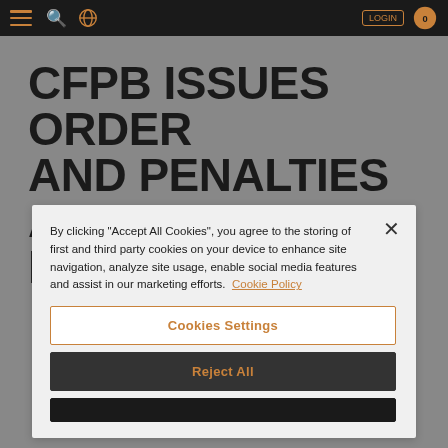Navigation bar with hamburger menu, search, globe icons, login button and cart icon
CFPB ISSUES ORDER AND PENALTIES AGAINST NATIONAL
By clicking "Accept All Cookies", you agree to the storing of first and third party cookies on your device to enhance site navigation, analyze site usage, enable social media features and assist in our marketing efforts. Cookie Policy
Cookies Settings
Reject All